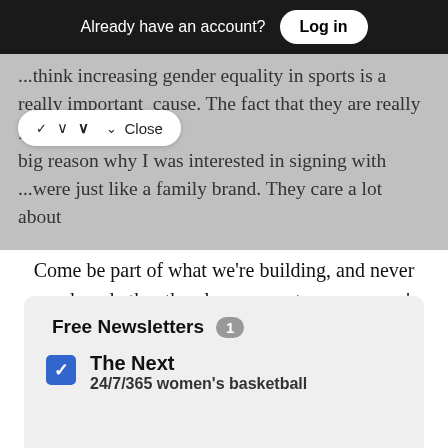Already have an account?  Log in
...think increasing gender equality in sports is a really important cause. The fact that they are really focused on big reason why I was interested in signing with ...were just like a family brand. They care a lot about
Close
Come be part of what we're building, and never wonder whether the place you get your women's sports coverage is going to disappear, suddenly, ever again.
To support our 24/7/365 women's basketball coverage with a paid subscription,
Free Newsletters  1
The Next
24/7/365 women's basketball